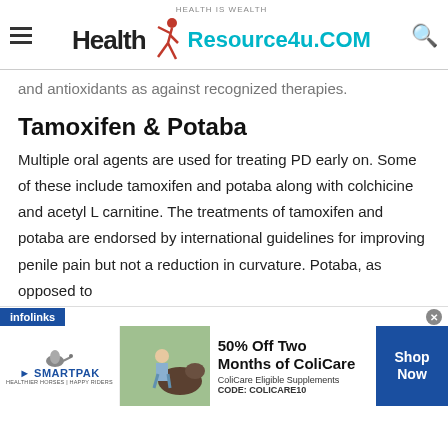HEALTH IS WEALTH | Health Resource4u.COM
and antioxidants as against recognized therapies.
Tamoxifen & Potaba
Multiple oral agents are used for treating PD early on. Some of these include tamoxifen and potaba along with colchicine and acetyl L carnitine. The treatments of tamoxifen and potaba are endorsed by international guidelines for improving penile pain but not a reduction in curvature. Potaba, as opposed to
[Figure (infographic): SmartPak advertisement banner: 50% Off Two Months of ColiCare, ColiCare Eligible Supplements, CODE: COLICARE10, Shop Now button. Infolinks label shown.]